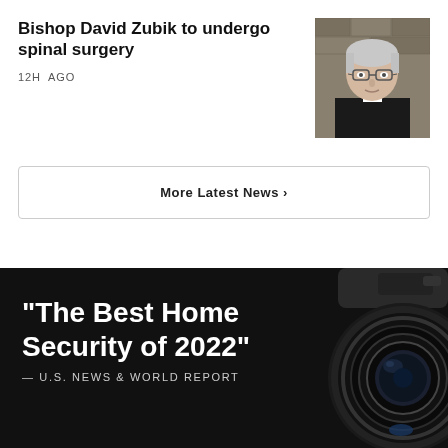Bishop David Zubik to undergo spinal surgery
12H AGO
[Figure (photo): Portrait photo of Bishop David Zubik, an elderly man with glasses and white hair wearing clerical attire, in front of a stone wall.]
More Latest News ›
[Figure (photo): Advertisement with dark background showing a camera lens on the right and text: "The Best Home Security of 2022" — U.S. NEWS & WORLD REPORT]